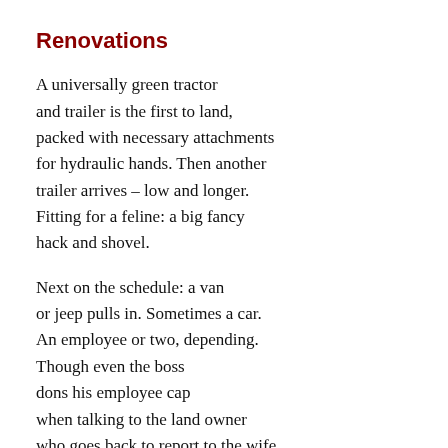Renovations
A universally green tractor
and trailer is the first to land,
packed with necessary attachments
for hydraulic hands. Then another
trailer arrives – low and longer.
Fitting for a feline: a big fancy
hack and shovel.
Next on the schedule: a van
or jeep pulls in. Sometimes a car.
An employee or two, depending.
Though even the boss
dons his employee cap
when talking to the land owner
who goes back to report to the wife.
But that's not important to the Cat.